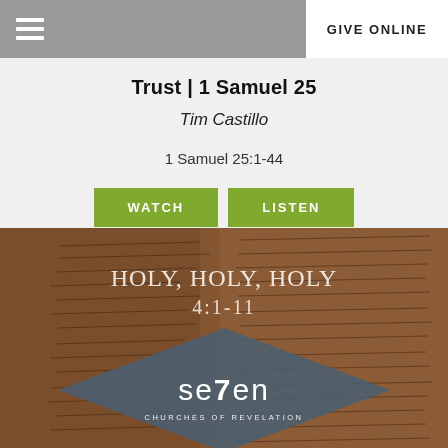GIVE ONLINE
Trust | 1 Samuel 25
Tim Castillo
1 Samuel 25:1-44
[Figure (screenshot): Green WATCH button and green LISTEN button side by side]
[Figure (photo): Ancient manuscript background with overlay text: Holy, Holy, Holy 4:1-11 and se7en Churches of Revelation logo diamond shape]